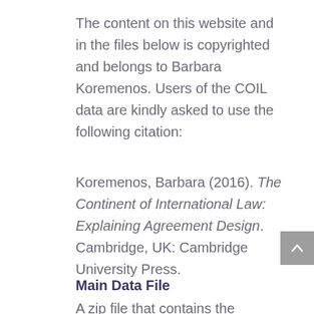The content on this website and in the files below is copyrighted and belongs to Barbara Koremenos. Users of the COIL data are kindly asked to use the following citation:
Koremenos, Barbara (2016). The Continent of International Law: Explaining Agreement Design. Cambridge, UK: Cambridge University Press.
Main Data File
A zip file that contains the replication